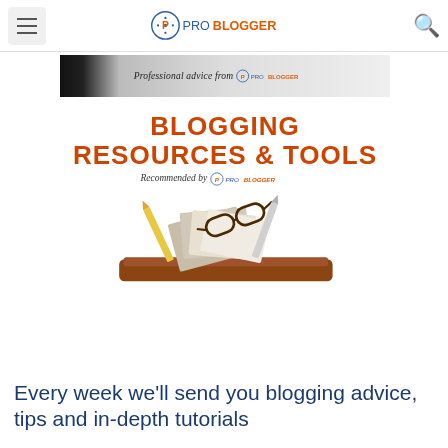ProBlogger
[Figure (screenshot): Banner advertisement for ProBlogger showing 'Professional advice from ProBlogger']
[Figure (illustration): Promotional graphic: BLOGGING RESOURCES & TOOLS Recommended by ProBlogger, with desk items including glasses and books]
Every week we'll send you blogging advice, tips and in-depth tutorials